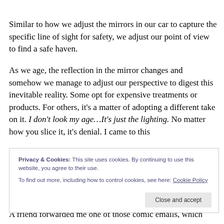Similar to how we adjust the mirrors in our car to capture the specific line of sight for safety, we adjust our point of view to find a safe haven.
As we age, the reflection in the mirror changes and somehow we manage to adjust our perspective to digest this inevitable reality. Some opt for expensive treatments or products. For others, it's a matter of adopting a different take on it. I don't look my age…It's just the lighting. No matter how you slice it, it's denial. I came to this
Privacy & Cookies: This site uses cookies. By continuing to use this website, you agree to their use.
To find out more, including how to control cookies, see here: Cookie Policy
A friend forwarded me one of those comic emails, which